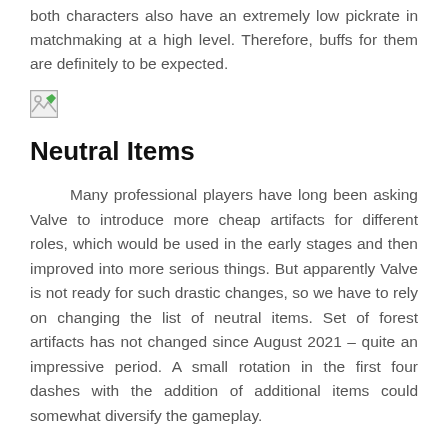both characters also have an extremely low pickrate in matchmaking at a high level. Therefore, buffs for them are definitely to be expected.
[Figure (illustration): Broken/missing image placeholder icon]
Neutral Items
Many professional players have long been asking Valve to introduce more cheap artifacts for different roles, which would be used in the early stages and then improved into more serious things. But apparently Valve is not ready for such drastic changes, so we have to rely on changing the list of neutral items. Set of forest artifacts has not changed since August 2021 – quite an impressive period. A small rotation in the first four dashes with the addition of additional items could somewhat diversify the gameplay.
Battle Pass
On May 31 Dota 2 community was actively discussing